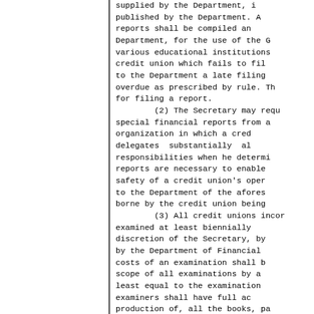(y) supplied by the Department, in published by the Department. A reports shall be compiled and Department, for the use of the G various educational institutions credit union which fails to file to the Department a late filing overdue as prescribed by rule. Th for filing a report.
    (2) The Secretary may requi special financial reports from a organization in which a credi delegates substantially all responsibilities when he determi reports are necessary to enable t safety of a credit union's opera to the Department of the aforesai borne by the credit union being e
    (3) All credit unions incorp examined at least biennially b discretion of the Secretary, by by the Department of Financial a costs of an examination shall be scope of all examinations by a least equal to the examinations examiners shall have full acc production of, all the books, pap any credit union. A special exa Department or by a public account upon written request of 5 or mo